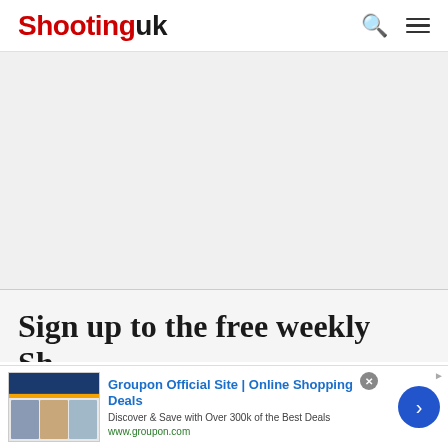Shooting UK
[Figure (other): Gray advertisement placeholder area]
Sign up to the free weekly Shooting UK newsletter
[Figure (other): Groupon advertisement banner: 'Groupon Official Site | Online Shopping Deals - Discover & Save with Over 300k of the Best Deals - www.groupon.com' with close button and arrow button]